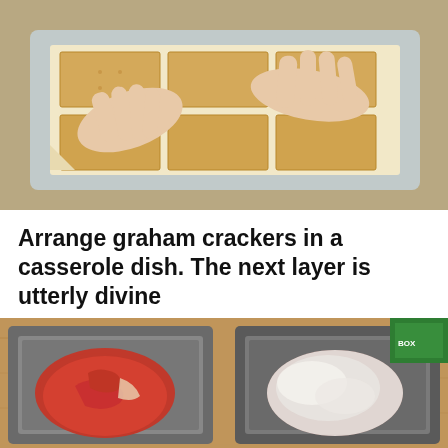[Figure (photo): Hands arranging graham crackers in a glass casserole dish lined with parchment paper, viewed from above.]
Arrange graham crackers in a casserole dish. The next layer is utterly divine
BY KATE ELLIOTT
[Figure (photo): Two metal baking pans side by side on a wooden surface: left pan contains a raw red steak, right pan contains a steak coated in white salt or flour, with a green box visible in the background.]